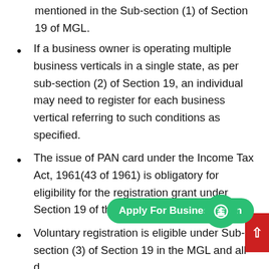mentioned in the Sub-section (1) of Section 19 of MGL.
If a business owner is operating multiple business verticals in a single state, as per sub-section (2) of Section 19, an individual may need to register for each business vertical referring to such conditions as specified.
The issue of PAN card under the Income Tax Act, 1961(43 of 1961) is obligatory for eligibility for the registration grant under Section 19 of the MGL.
Voluntary registration is eligible under Sub-section (3) of Section 19 in the MGL and all d acceptable to a documented taxable individual.